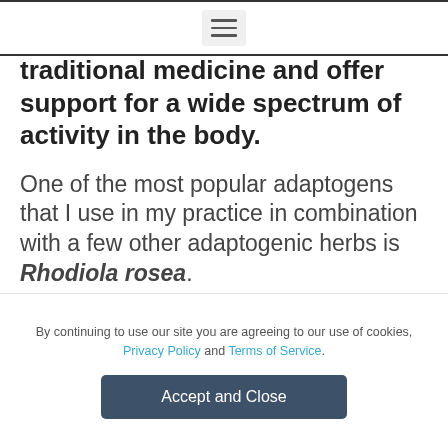[hamburger menu icon]
traditional medicine and offer support for a wide spectrum of activity in the body.
One of the most popular adaptogens that I use in my practice in combination with a few other adaptogenic herbs is Rhodiola rosea.
Rhodiola rosea is a plant that...
By continuing to use our site you are agreeing to our use of cookies, Privacy Policy and Terms of Service.
Accept and Close